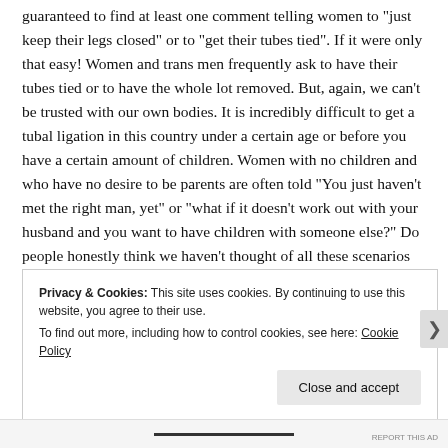guaranteed to find at least one comment telling women to "just keep their legs closed" or to "get their tubes tied". If it were only that easy! Women and trans men frequently ask to have their tubes tied or to have the whole lot removed. But, again, we can't be trusted with our own bodies. It is incredibly difficult to get a tubal ligation in this country under a certain age or before you have a certain amount of children. Women with no children and who have no desire to be parents are often told "You just haven't met the right man, yet" or "what if it doesn't work out with your husband and you want to have children with someone else?" Do people honestly think we haven't thought of all these scenarios before making such a big decision?
Privacy & Cookies: This site uses cookies. By continuing to use this website, you agree to their use. To find out more, including how to control cookies, see here: Cookie Policy
Close and accept